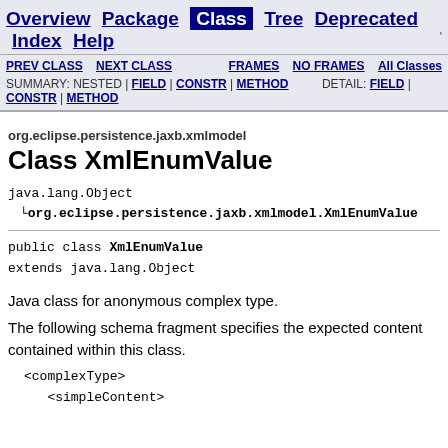Overview Package Class Tree Deprecated Index Help
PREV CLASS   NEXT CLASS   FRAMES   NO FRAMES   All Classes
SUMMARY: NESTED | FIELD | CONSTR | METHOD   DETAIL: FIELD | CONSTR | METHOD
org.eclipse.persistence.jaxb.xmlmodel
Class XmlEnumValue
java.lang.Object
  └org.eclipse.persistence.jaxb.xmlmodel.XmlEnumValue
public class XmlEnumValue
extends java.lang.Object
Java class for anonymous complex type.
The following schema fragment specifies the expected content contained within this class.
<complexType>
   <simpleContent>